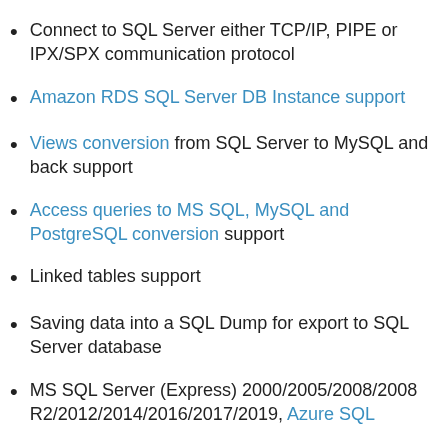Connect to SQL Server either TCP/IP, PIPE or IPX/SPX communication protocol
Amazon RDS SQL Server DB Instance support
Views conversion from SQL Server to MySQL and back support
Access queries to MS SQL, MySQL and PostgreSQL conversion support
Linked tables support
Saving data into a SQL Dump for export to SQL Server database
MS SQL Server (Express) 2000/2005/2008/2008 R2/2012/2014/2016/2017/2019, Azure SQL